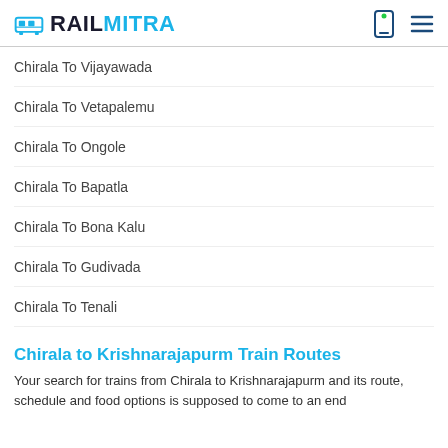RAILMITRA
Chirala To Vijayawada
Chirala To Vetapalemu
Chirala To Ongole
Chirala To Bapatla
Chirala To Bona Kalu
Chirala To Gudivada
Chirala To Tenali
Chirala to Krishnarajapurm Train Routes
Your search for trains from Chirala to Krishnarajapurm and its route, schedule and food options is supposed to come to an end